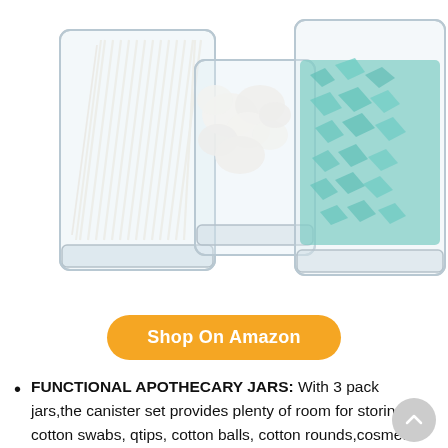[Figure (photo): Three clear glass apothecary/canister jars filled with bathroom items: left jar contains white cotton swabs/qtips, middle jar contains white cotton balls, right jar contains teal/green bath salts. White background.]
Shop On Amazon
FUNCTIONAL APOTHECARY JARS: With 3 pack jars,the canister set provides plenty of room for storing cotton swabs, qtips, cotton balls, cotton rounds,cosmetic pads,flossers,bath salts,nail polish or anything else in the bathroom or vanity.